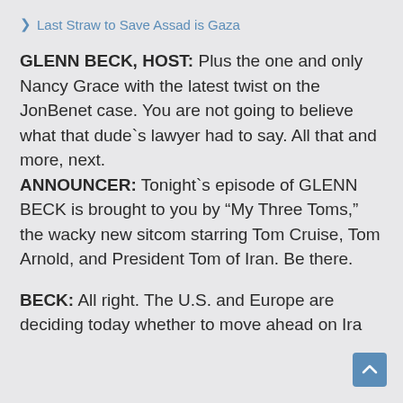> Last Straw to Save Assad is Gaza
GLENN BECK, HOST: Plus the one and only Nancy Grace with the latest twist on the JonBenet case. You are not going to believe what that dude`s lawyer had to say. All that and more, next.
ANNOUNCER: Tonight`s episode of GLENN BECK is brought to you by “My Three Toms,” the wacky new sitcom starring Tom Cruise, Tom Arnold, and President Tom of Iran. Be there.
BECK: All right. The U.S. and Europe are deciding today whether to move ahead on Ira